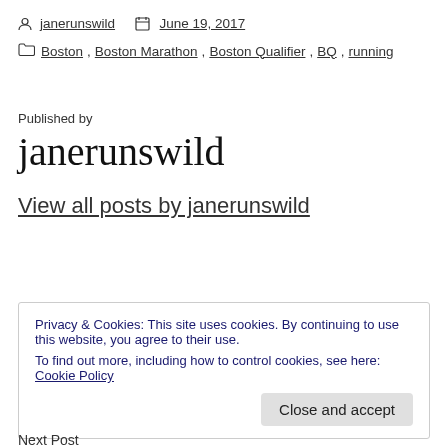janerunswild   June 19, 2017
Boston, Boston Marathon, Boston Qualifier, BQ, running
Published by
janerunswild
View all posts by janerunswild
Privacy & Cookies: This site uses cookies. By continuing to use this website, you agree to their use.
To find out more, including how to control cookies, see here: Cookie Policy
Close and accept
Next Post